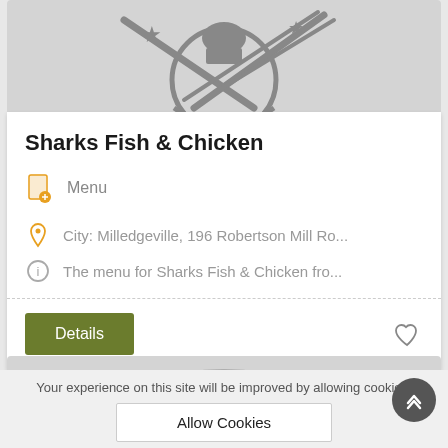[Figure (illustration): Restaurant logo/icon showing a chef hat inside a circle with stars, crossed by a knife and fork, on a light gray background]
Sharks Fish & Chicken
Menu
City: Milledgeville, 196 Robertson Mill Ro...
The menu for Sharks Fish & Chicken fro...
Details
[Figure (illustration): Partial view of another restaurant icon on gray background]
Your experience on this site will be improved by allowing cookies.
Allow Cookies